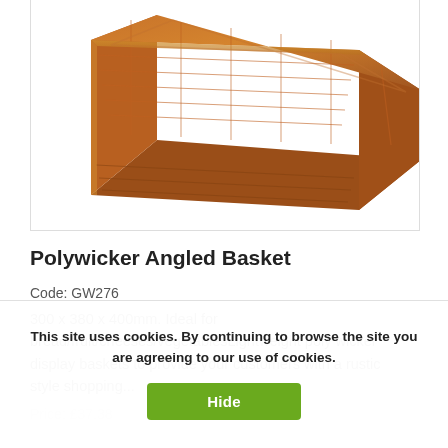[Figure (photo): A wicker-style polywicker angled basket photographed from above at an angle, showing the rectangular woven brown basket interior.]
Polywicker Angled Basket
Code: GW276
300 x 380 x 400mm. Ideal for bread/fruit/cheeses/vegetablesLightweight poly wicker display baskets to provide your customers with a rustic style shopping...
Price: £37.38
This site uses cookies. By continuing to browse the site you are agreeing to our use of cookies.